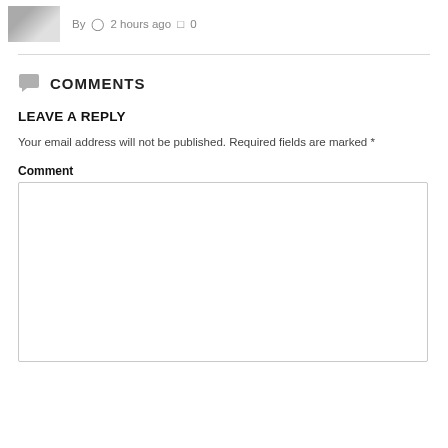[Figure (photo): Small thumbnail image of a laptop/calculator on a desk]
By  ⏱ 2 hours ago  💬 0
COMMENTS
LEAVE A REPLY
Your email address will not be published. Required fields are marked *
Comment